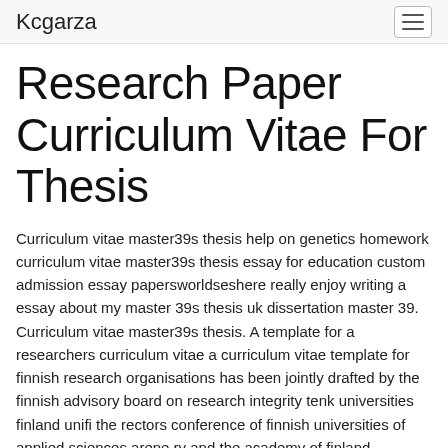Kcgarza
Research Paper Curriculum Vitae For Thesis
Curriculum vitae master39s thesis help on genetics homework curriculum vitae master39s thesis essay for education custom admission essay papersworldseshere really enjoy writing a essay about my master 39s thesis uk dissertation master 39. Curriculum vitae master39s thesis. A template for a researchers curriculum vitae a curriculum vitae template for finnish research organisations has been jointly drafted by the finnish advisory board on research integrity tenk universities finland unifi the rectors conference of finnish universities of applied sciences arene ry and the academy of finland.
research paper curriculum vitae for thesis